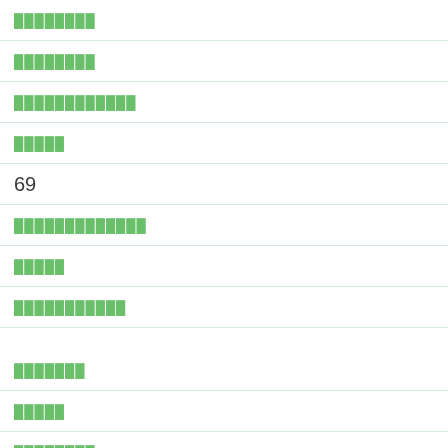████████
████████
████████████
█████
69
█████████████
█████
███████████
███████
█████
████████
████████